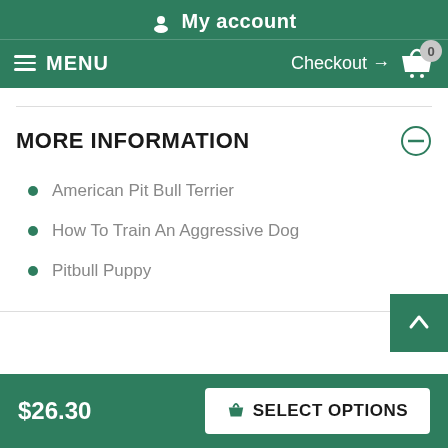My account
MENU  Checkout → 0
MORE INFORMATION
American Pit Bull Terrier
How To Train An Aggressive Dog
Pitbull Puppy
$26.30  SELECT OPTIONS